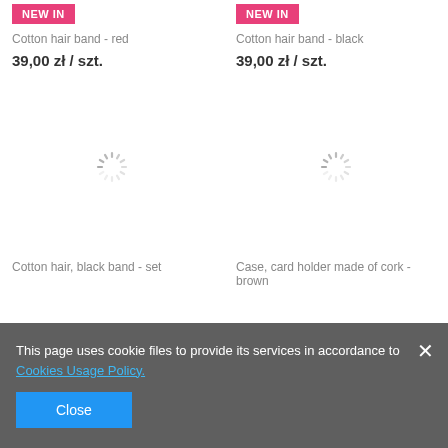[Figure (screenshot): Product listing page showing two products in a two-column grid layout with NEW IN badges, product names, prices, and loading spinners for product images.]
Cotton hair band - red
39,00 zł / szt.
Cotton hair band - black
39,00 zł / szt.
Cotton hair, black band - set
Case, card holder made of cork - brown
This page uses cookie files to provide its services in accordance to Cookies Usage Policy.
Close